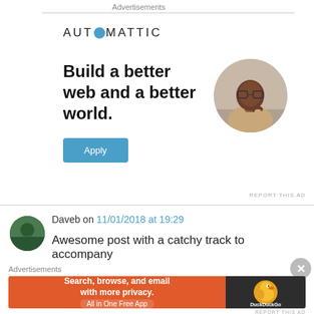Advertisements
[Figure (illustration): Automattic advertisement with logo, tagline 'Build a better web and a better world.', Apply button, and circular photo of a person thinking]
REPORT THIS AD
Daveb on 11/01/2018 at 19:29
Awesome post with a catchy track to accompany
Advertisements
[Figure (illustration): DuckDuckGo advertisement: Search, browse, and email with more privacy. All in One Free App. DuckDuckGo logo on dark background.]
REPORT THIS AD